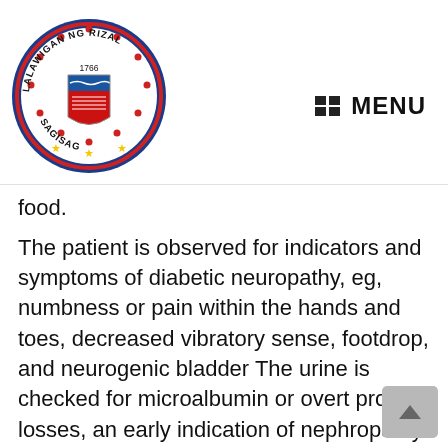[Figure (logo): Circular seal/logo of Lalawigan ng Rizal (Province of Rizal, Philippines) with text around the border reading 'LALAWIGAN NG RIZAL' and 'SAGISAG', dated 1766, featuring a coat of arms in the center with red and blue design, stars at the bottom]
MENU
food.
The patient is observed for indicators and symptoms of diabetic neuropathy, eg, numbness or pain within the hands and toes, decreased vibratory sense, footdrop, and neurogenic bladder The urine is checked for microalbumin or overt protein losses, an early indication of nephropathy The mixture of peripheral neuropathy and peripheral arterial disease ends in modifications within the skin and microvasculature that result in ulcer formation on the toes and lower